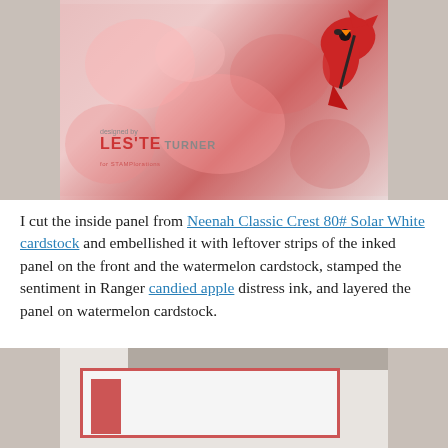[Figure (photo): Photo of a handmade card with a cardinal bird cutout on a pink/red inked watercolor background panel, mounted on gray cardstock with wood grain background. Designer signature 'Leslie Turner for STAMPlorations' visible.]
I cut the inside panel from Neenah Classic Crest 80# Solar White cardstock and embellished it with leftover strips of the inked panel on the front and the watermelon cardstock, stamped the sentiment in Ranger candied apple distress ink, and layered the panel on watermelon cardstock.
[Figure (photo): Photo of the inside of a handmade card showing white panel with red/watermelon cardstock border strips, mounted on gray cardstock with wood grain background visible.]